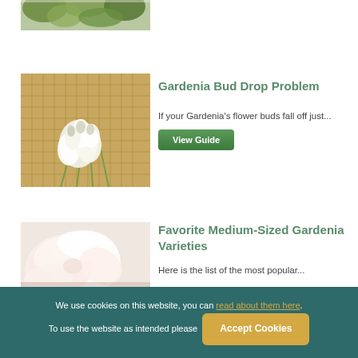[Figure (photo): Partial top image showing green plant leaves on white background]
[Figure (photo): White gardenia flower buds on a woven basket background]
Gardenia Bud Drop Problem
If your Gardenia's flower buds fall off just...
[Figure (photo): Pale pink/white gardenia flower, partially visible]
Favorite Medium-Sized Gardenia Varieties
Here is the list of the most popular...
We use cookies on this website, you can read about them here. To use the website as intended please Accept Cookies